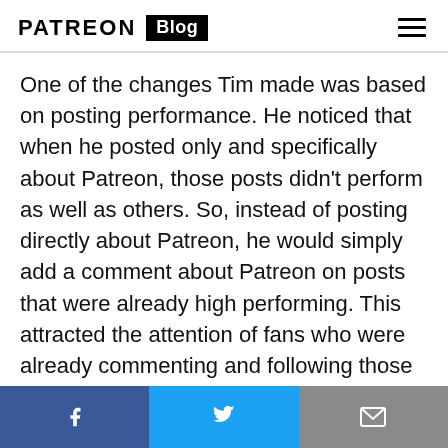PATREON Blog
One of the changes Tim made was based on posting performance. He noticed that when he posted only and specifically about Patreon, those posts didn't perform as well as others. So, instead of posting directly about Patreon, he would simply add a comment about Patreon on posts that were already high performing. This attracted the attention of fans who were already commenting and following those posts, and Tim immediately saw an uptick in Patreon support. On top of that, Tim started sharing the progress of the Patreon campaign in the comments as well, keeping fans